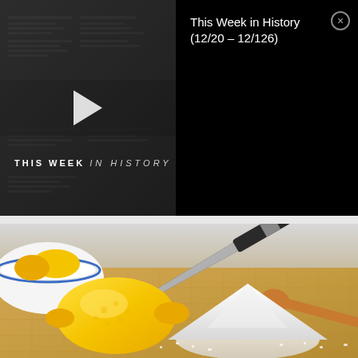[Figure (screenshot): Video thumbnail showing 'THIS WEEK IN HISTORY' text with play button on dark newspaper-textured background]
This Week in History (12/20 – 12/126)
[Figure (photo): Photo of a lemon and a pile of salt/sugar on a wooden cutting board, with a knife in the background and a white bowl of lemons]